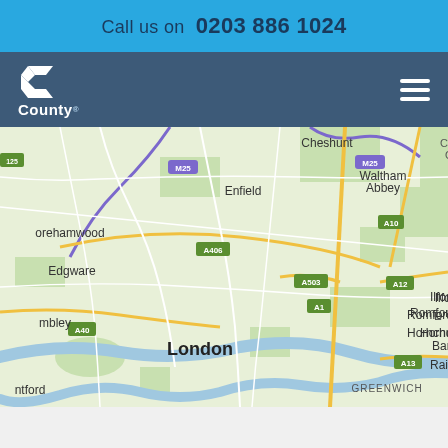Call us on 0203 886 1024
[Figure (logo): County logo with C icon and text]
[Figure (map): Google Maps view of Greater London area showing road network, M25, A-roads, and place names including London, Greenwich, Enfield, Cheshunt, Waltham Abbey, Epping, Loughton, Edgware, Romford, Hornchurch, Ilford, Barking, Dagenham, Rainham, and road labels A1, A10, A12, A13, A40, A406, A503]